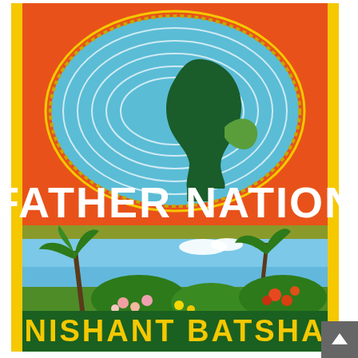[Figure (illustration): Book cover of 'Father Nation' by Nishant Batsha. Orange background with a large blue oval/ellipse in the upper portion containing rippling white wave lines and a dark green silhouette profile of a person's head facing left, with a lighter green leaf/plant shape. A yellow and dotted border ring surrounds the oval. Large bold white text reads 'FATHER NATION' across the middle. A yellow-green banner below contains italic text 'a novel' on each side. Below that is a tropical scene painting with palm trees, colorful flowers (pink plumeria, red flowers), blue sky and ocean. At the bottom is a dark green band with large yellow bold text 'NISHANT BATSHA'. A narrow yellow vertical stripe runs along the left and right edges of the cover.]